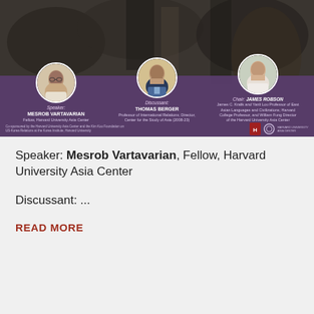[Figure (photo): Event banner showing three speakers (Mesrob Vartavarian, Thomas Berger, James Robson) with circular portrait photos against a dark purple background with a black-and-white war/military photograph backdrop. Text identifies roles: Speaker, Discussant, Chair. Co-sponsored by Harvard University Asia Center.]
Speaker: Mesrob Vartavarian, Fellow, Harvard University Asia Center
Discussant: ...
READ MORE